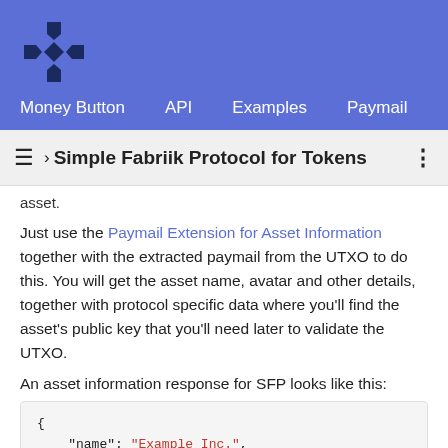Money Button  API  Examples  Paymail  bsv
› Simple Fabriik Protocol for Tokens
asset.
Just use the Paymail Extension for Asset Information together with the extracted paymail from the UTXO to do this. You will get the asset name, avatar and other details, together with protocol specific data where you'll find the asset's public key that you'll need later to validate the UTXO.
An asset information response for SFP looks like this:
{
    "name": "Example Inc.",
    "protocol": "SFP@0.3",